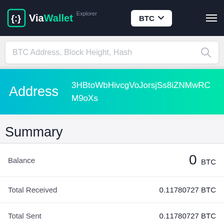ViaWallet Explorer — BTC
BTC Address, Block Height, Hash
Address 3HBtoWbHivcgVoJorsjSs8iZNMwRCM9oXs
Summary
| Field | Value |
| --- | --- |
| Balance | 0 BTC |
| Total Received | 0.11780727 BTC |
| Total Sent | 0.11780727 BTC |